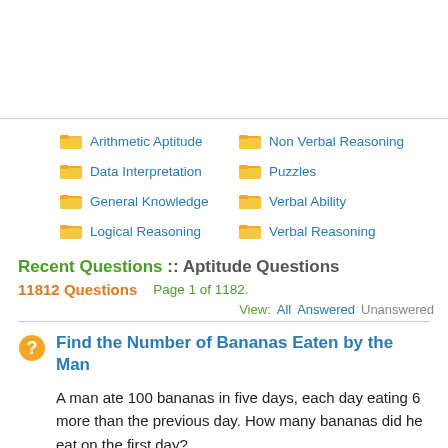Arithmetic Aptitude
Non Verbal Reasoning
Data Interpretation
Puzzles
General Knowledge
Verbal Ability
Logical Reasoning
Verbal Reasoning
Recent Questions :: Aptitude Questions
11812 Questions    Page 1 of 1182.
View:  All  Answered  Unanswered
Find the Number of Bananas Eaten by the Man
A man ate 100 bananas in five days, each day eating 6 more than the previous day. How many bananas did he eat on the first day?
Asked by: Pfaa on Jul 26, 2022